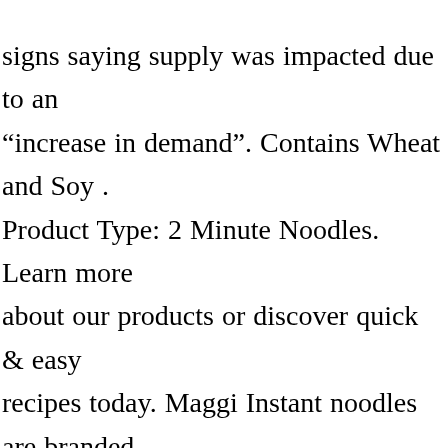signs saying supply was impacted due to an “increase in demand”. Contains Wheat and Soy . Product Type: 2 Minute Noodles. Learn more about our products or discover quick & easy recipes today. Maggi Instant noodles are branded as "Maggi 2 Minute Noodles" in Australia, New Zealand[7] and India.[8]. However, Maggi chicken noodles carry a red dot, indicating that they are not vegetarian. Simply peel off the lid, empty sachet/s in the cup and fill boiling water to the line. A fun and tasty noodle snack, MAGGI chicken cup noodles are ready in an instant and in a handy